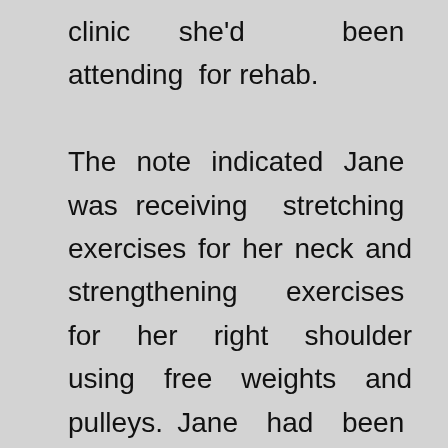clinic she'd been attending for rehab.

The note indicated Jane was receiving stretching exercises for her neck and strengthening exercises for her right shoulder using free weights and pulleys. Jane had been attending for months but wasn't finding that she was improving.